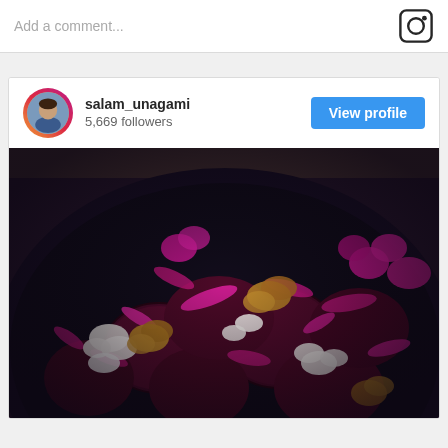Add a comment...
[Figure (screenshot): Instagram post by salam_unagami showing a beet salad with walnuts, feta cheese and pink/magenta garnish on a dark plate]
salam_unagami
5,669 followers
View profile